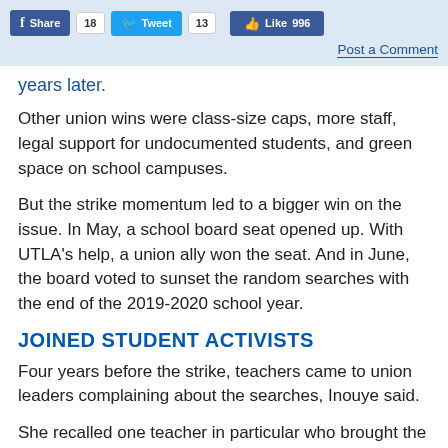Share 18  Tweet 13  Like 996  Post a Comment
years later.
Other union wins were class-size caps, more staff, legal support for undocumented students, and green space on school campuses.
But the strike momentum led to a bigger win on the issue. In May, a school board seat opened up. With UTLA's help, a union ally won the seat. And in June, the board voted to sunset the random searches with the end of the 2019-2020 school year.
JOINED STUDENT ACTIVISTS
Four years before the strike, teachers came to union leaders complaining about the searches, Inouye said.
She recalled one teacher in particular who brought the issue to her attention. "He never thought that the union would be